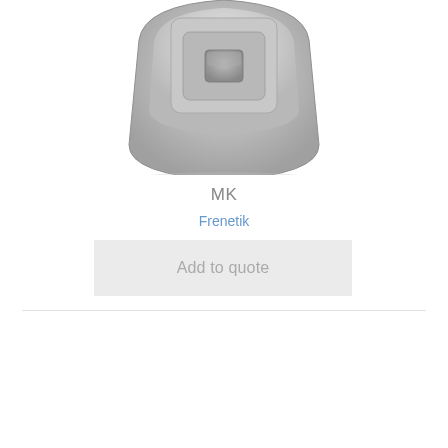[Figure (photo): A silver/gray electronic device (appears to be a card reader or similar hardware gadget) viewed from above at an angle, showing a square raised button/sensor area on top.]
MK
Frenetik
Add to quote